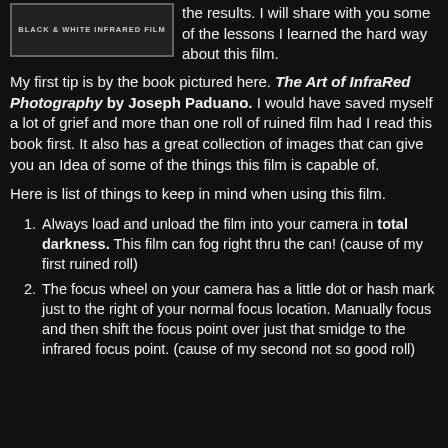[Figure (photo): Book cover showing 'BLACK & WHITE INFRARED FILM' text on dark background]
the results. I will share with you some of the lessons I learned the hard way about this film.
My first tip is by the book pictured here. The Art of InfraRed Photography by Joseph Paduano. I would have saved myself a lot of grief and more than one roll of ruined film had I read this book first. It also has a great collection of images that can give you an Idea of some of the things this film is capable of.
Here is list of things to keep in mind when using this film.
Always load and unload the film into your camera in total darkness. This film can fog right thru the can! (cause of my first ruined roll)
The focus wheel on your camera has a little dot or hash mark just to the right of your normal focus location. Manually focus and then shift the focus point over just that smidge to the infrared focus point. (cause of my second not so good roll)